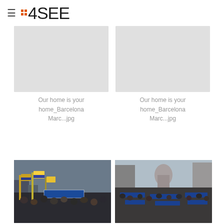4SEE
[Figure (other): Placeholder thumbnail image (grey box)]
Our home is your home_Barcelona Marc...jpg
[Figure (other): Placeholder thumbnail image (grey box)]
Our home is your home_Barcelona Marc...jpg
[Figure (photo): Crowd of protesters with Catalan independence flags and blue banners reading PROU EXCUSES, ACOLIM ARA]
[Figure (photo): Aerial view of large crowd with blue banners on a wide urban boulevard with classical buildings]